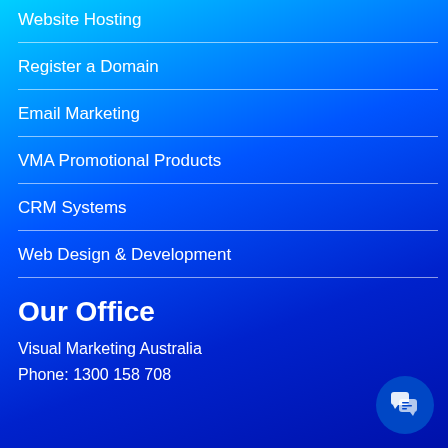Website Hosting
Register a Domain
Email Marketing
VMA Promotional Products
CRM Systems
Web Design & Development
Our Office
Visual Marketing Australia
Phone: 1300 158 708